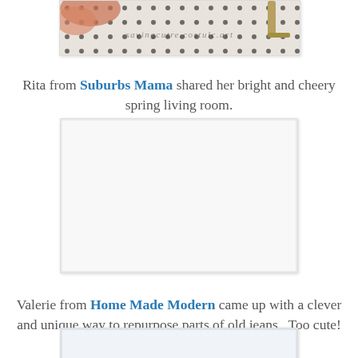[Figure (photo): Partial photo of a tiled floor with a polka-dot pattern, showing a chair leg and a pink/orange fluffy item, with a watermark overlay reading 'savingcutecostume.net' or similar]
Rita from Suburbs Mama shared her bright and cheery spring living room.
[Figure (photo): A mostly white/blank image placeholder for Rita from Suburbs Mama's bright and cheery spring living room photo]
Valerie from Home Made Modern came up with a clever and unique way to repurpose parts of old jeans.  Too cute!
[Figure (photo): A mostly white/blank image placeholder for Valerie from Home Made Modern's jeans repurpose project photo]